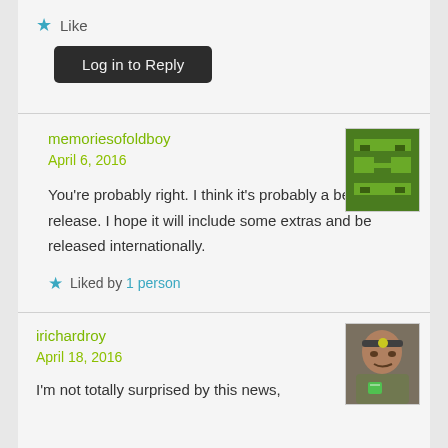★ Like
Log in to Reply
memoriesofoldboy
April 6, 2016
[Figure (illustration): Pixel art / Minecraft-style green avatar icon]
You're probably right. I think it's probably a best of release. I hope it will include some extras and be released internationally.
★ Liked by 1 person
irichardroy
April 18, 2016
[Figure (photo): Profile photo of a man wearing a headlamp, holding a green cup]
I'm not totally surprised by this news,